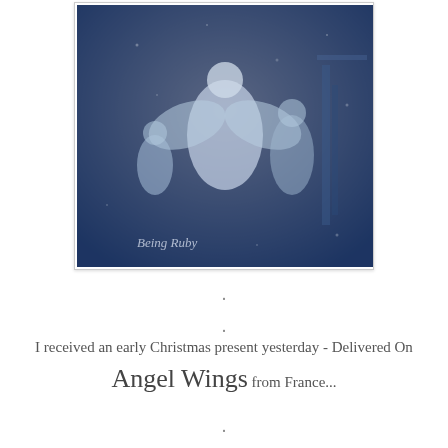[Figure (photo): A blue-tinted vintage photograph of angel figures, with text watermark 'Being Ruby' in the lower left corner.]
.
.
I received an early Christmas present yesterday - Delivered On Angel Wings from France...
.
.